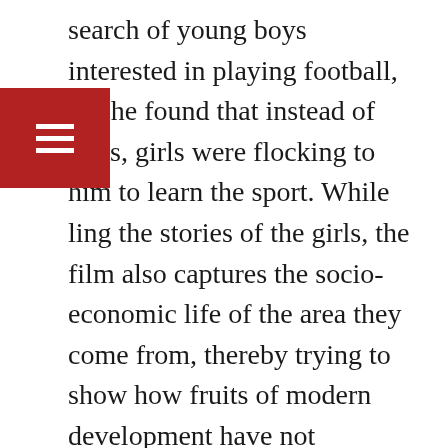search of young boys interested in playing football, but he found that instead of boys, girls were flocking to him to learn the sport. While [tell]ling the stories of the girls, the film also captures the socio-economic life of the area they come from, thereby trying to show how fruits of modern development have not equitably reached all the people. The film's subject is also important in the context of the North-East India, where football is a passion and States like Manipur and Mizoram and clubs like Shillong Lajong FC have proved themselves to be major players on the national scene. http://www.assamtribune.com/scripts/detailsnew.a